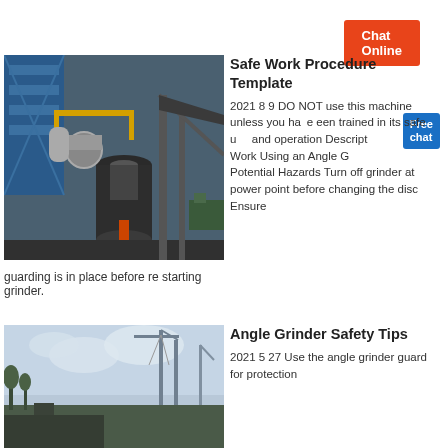Chat Online
Safe Work Procedure Template
[Figure (photo): Industrial grinding mill equipment at a factory or plant site, large cylindrical vessel with pipes and structural steel, blue and yellow structures in background]
2021 8 9 DO NOT use this machine unless you have been trained in its safe use and operation Description Work Using an Angle Grinder Potential Hazards Turn off grinder at power point before changing the disc Ensure guarding is in place before re starting grinder.
Chat Online
Angle Grinder Safety Tips
[Figure (photo): Outdoor industrial or construction scene with cranes or towers visible against a grey sky with trees]
2021 5 27 Use the angle grinder guard for protection